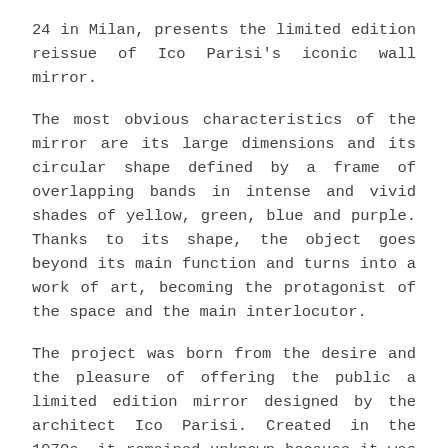24 in Milan, presents the limited edition reissue of Ico Parisi's iconic wall mirror.
The most obvious characteristics of the mirror are its large dimensions and its circular shape defined by a frame of overlapping bands in intense and vivid shades of yellow, green, blue and purple. Thanks to its shape, the object goes beyond its main function and turns into a work of art, becoming the protagonist of the space and the main interlocutor.
The project was born from the desire and the pleasure of offering the public a limited edition mirror designed by the architect Ico Parisi. Created in the 1970s, it remained unknown because it was not intended for production. Thus, the gallery owner Luca Preti decided, thanks also to the support of the Ico Parisi Design Archive, to produce it in a limited series, keeping its original colors and dimensions. The project aims to introduce the public to an element of